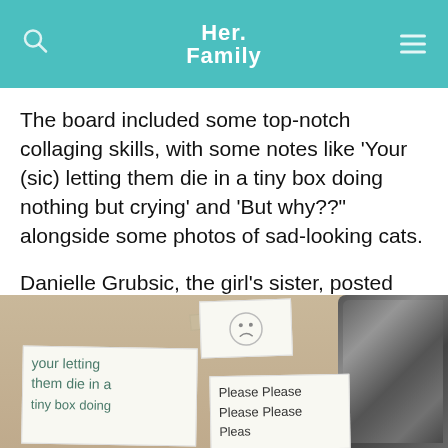Her Family
The board included some top-notch collaging skills, with some notes like ‘Your (sic) letting them die in a tiny box doing nothing but crying’ and ‘But why??” alongside some photos of sad-looking cats.
Danielle Grubsic, the girl’s sister, posted photos of the "wall of sorrow" on Twitter, where they quickly went viral.
[Figure (photo): Photo of handwritten notes taped to a wall, showing messages including 'your letting them die in a' and 'Please Please Please Please Pleas' with a decorative mirror frame on the right side.]